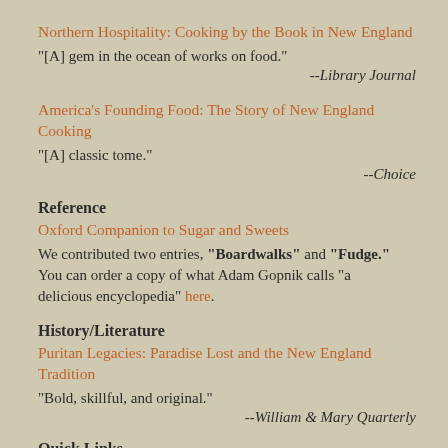Northern Hospitality: Cooking by the Book in New England
"[A] gem in the ocean of works on food."
--Library Journal
America's Founding Food: The Story of New England Cooking
"[A] classic tome."
--Choice
Reference
Oxford Companion to Sugar and Sweets
We contributed two entries, "Boardwalks" and "Fudge." You can order a copy of what Adam Gopnik calls "a delicious encyclopedia" here.
History/Literature
Puritan Legacies: Paradise Lost and the New England Tradition
"Bold, skillful, and original."
--William & Mary Quarterly
Quick Links